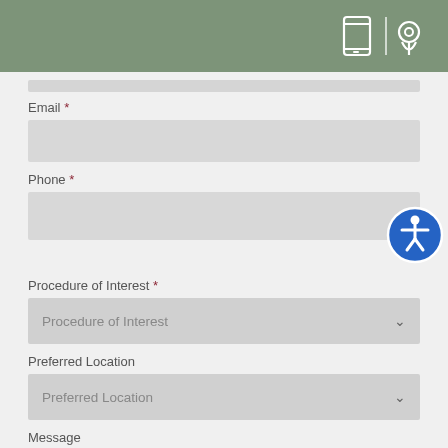[Figure (illustration): Green header bar with white phone/tablet icon, vertical divider, and location pin icon on the right side]
Email *
Phone *
Procedure of Interest *
Procedure of Interest (dropdown placeholder)
Preferred Location
Preferred Location (dropdown placeholder)
Message
How may we help you?